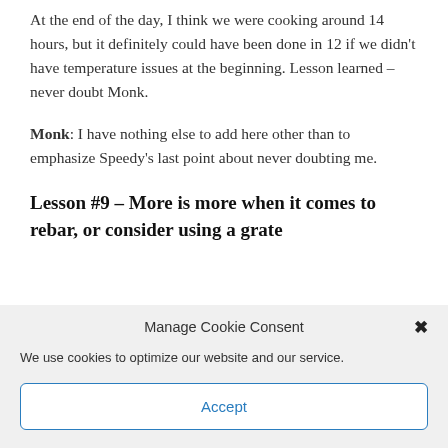At the end of the day, I think we were cooking around 14 hours, but it definitely could have been done in 12 if we didn't have temperature issues at the beginning. Lesson learned – never doubt Monk.
Monk: I have nothing else to add here other than to emphasize Speedy's last point about never doubting me.
Lesson #9 – More is more when it comes to rebar, or consider using a grate
Manage Cookie Consent
We use cookies to optimize our website and our service.
Accept